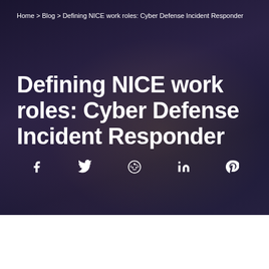Home > Blog > Defining NICE work roles: Cyber Defense Incident Responder
Defining NICE work roles: Cyber Defense Incident Responder
[Figure (other): Social media share icons: Facebook, Twitter, Reddit, LinkedIn, Pinterest]